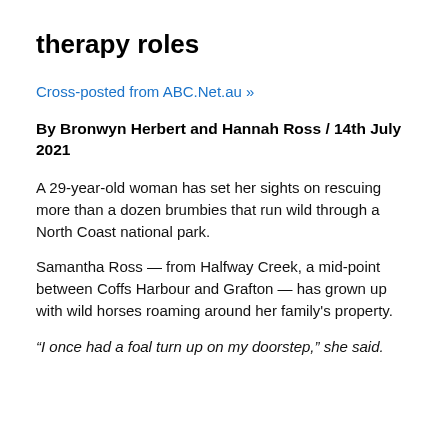therapy roles
Cross-posted from ABC.Net.au »
By Bronwyn Herbert and Hannah Ross / 14th July 2021
A 29-year-old woman has set her sights on rescuing more than a dozen brumbies that run wild through a North Coast national park.
Samantha Ross — from Halfway Creek, a mid-point between Coffs Harbour and Grafton — has grown up with wild horses roaming around her family's property.
“I once had a foal turn up on my doorstep,” she said.